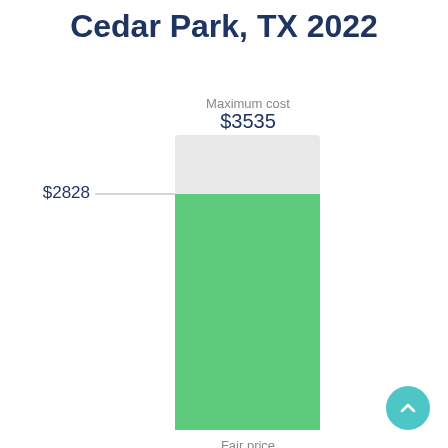Services Estimated Cost in Cedar Park, TX 2022
[Figure (bar-chart): Services Estimated Cost in Cedar Park, TX 2022]